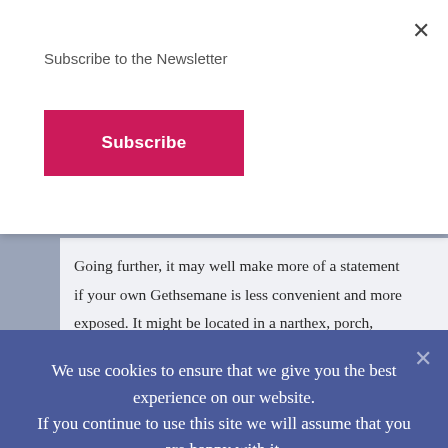Subscribe to the Newsletter
Subscribe
Going further, it may well make more of a statement if your own Gethsemane is less convenient and more exposed. It might be located in a narthex, porch, gallery or the
We use cookies to ensure that we give you the best experience on our website. If you continue to use this site we will assume that you are happy with it.
OK
PRIVACY POLICY